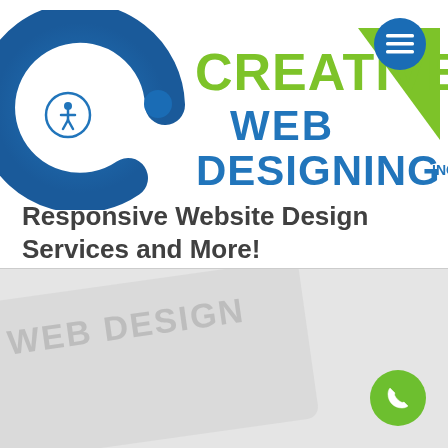[Figure (logo): Creative Web Designing Inc. logo with a large blue C shape, green triangle accent, and text CREATIVE WEB DESIGNING INC in green and blue colors. Accessibility icon circle on the left. Hamburger menu button circle on the top right.]
Responsive Website Design Services and More!
[Figure (illustration): Light gray background section with faint watermark-style card design showing diagonal text 'WEB DESIGN' and a phone/call button (green circle with phone icon) in the bottom right.]